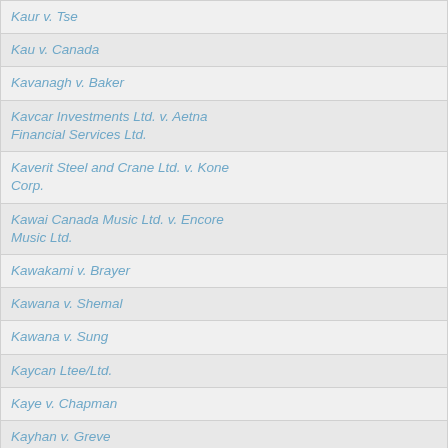| Kaur v. Tse |
| Kau v. Canada |
| Kavanagh v. Baker |
| Kavcar Investments Ltd. v. Aetna Financial Services Ltd. |
| Kaverit Steel and Crane Ltd. v. Kone Corp. |
| Kawai Canada Music Ltd. v. Encore Music Ltd. |
| Kawakami v. Brayer |
| Kawana v. Shemal |
| Kawana v. Sung |
| Kaycan Ltee/Ltd. |
| Kaye v. Chapman |
| Kayhan v. Greve |
| Kayne v. Strata Plan LMS 2374 |
| Kay v. Law Society of British Columbia |
| Kay v. Pettigrew |